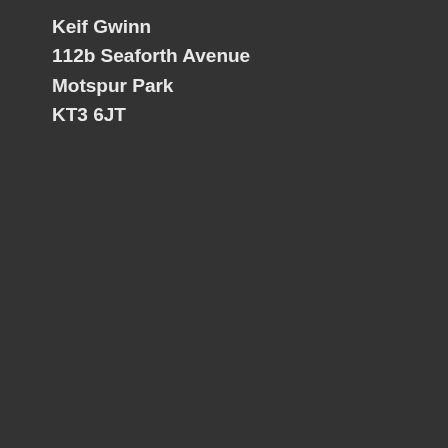Keif Gwinn
112b Seaforth Avenue
Motspur Park
KT3 6JT